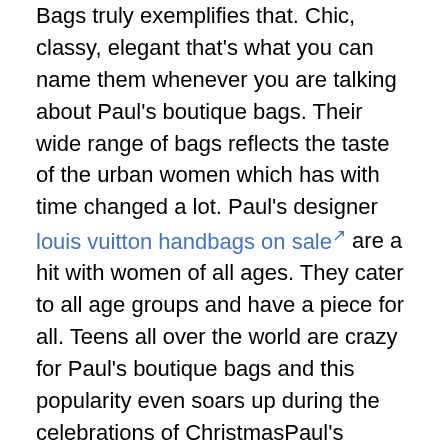Bags truly exemplifies that. Chic, classy, elegant that's what you can name them whenever you are talking about Paul's boutique bags. Their wide range of bags reflects the taste of the urban women which has with time changed a lot. Paul's designer louis vuitton handbags on sale are a hit with women of all ages. They cater to all age groups and have a piece for all. Teens all over the world are crazy for Paul's boutique bags and this popularity even soars up during the celebrations of ChristmasPaul's boutique bags are famous all over the world as they frequently come up with new collections. This time the whole world is going crazy over their new range of Barbie louis vuitton handbags 2011. Barbie has always been the inspiration of several girls and the world's most famous street wear have only fuelled to this craze further. With the Barbie bags, they have taken accessories to a relatively new level. You can buy the Paul's boutique Louis Vuitton Purses Barbie range through their original website along